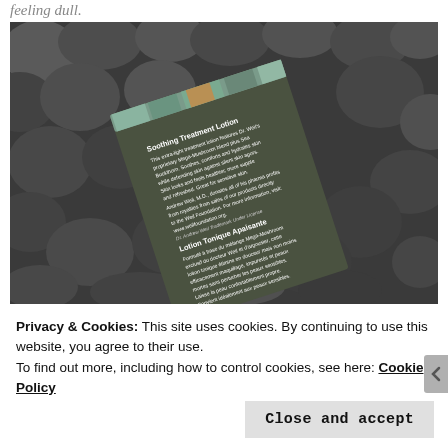feeling dull.
[Figure (photo): Photo of a product box (Dr. Weil Soothing Treatment Lotion / Lotion Tonique Apaisante) lying on dark river rocks/pebbles. The box is olive/dark green with white text in English and French describing the product ingredients and benefits.]
Privacy & Cookies: This site uses cookies. By continuing to use this website, you agree to their use.
To find out more, including how to control cookies, see here: Cookie Policy
Close and accept